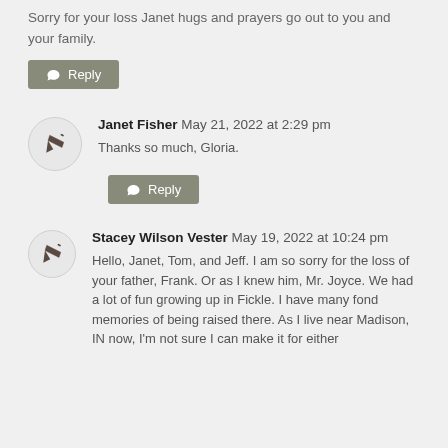Sorry for your loss Janet hugs and prayers go out to you and your family.
Reply
Janet Fisher May 21, 2022 at 2:29 pm
Thanks so much, Gloria.
Reply
Stacey Wilson Vester May 19, 2022 at 10:24 pm
Hello, Janet, Tom, and Jeff. I am so sorry for the loss of your father, Frank. Or as I knew him, Mr. Joyce. We had a lot of fun growing up in Fickle. I have many fond memories of being raised there. As I live near Madison, IN now, I'm not sure I can make it for either